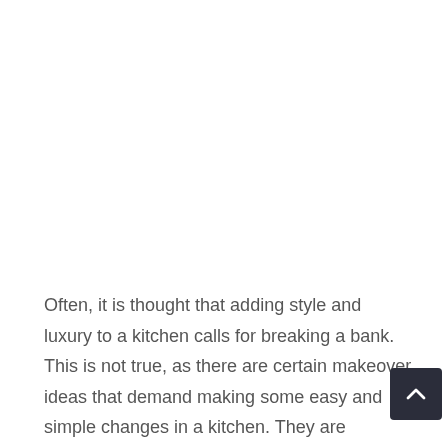Often, it is thought that adding style and luxury to a kitchen calls for breaking a bank. This is not true, as there are certain makeover ideas that demand making some easy and simple changes in a kitchen. They are changes that do not require much of resources and efforts; still the change they bring about is incredible.